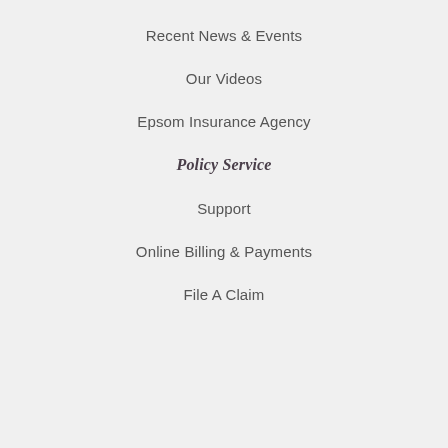Recent News & Events
Our Videos
Epsom Insurance Agency
Policy Service
Support
Online Billing & Payments
File A Claim